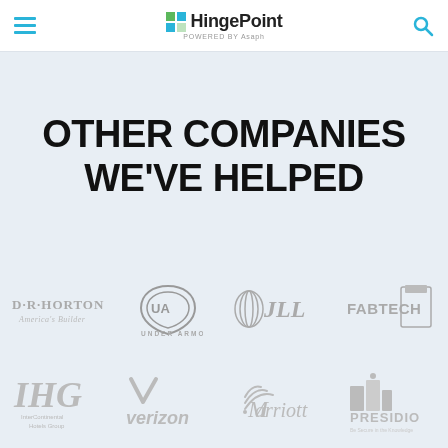HingePoint powered by Asaph
OTHER COMPANIES WE'VE HELPED
[Figure (logo): D·R·HORTON America's Builder logo (grayscale)]
[Figure (logo): Under Armour logo (grayscale)]
[Figure (logo): JLL logo (grayscale)]
[Figure (logo): FABTECH logo (grayscale)]
[Figure (logo): IHG InterContinental Hotels Group logo (grayscale)]
[Figure (logo): Verizon logo (grayscale)]
[Figure (logo): Marriott logo (grayscale)]
[Figure (logo): PRESIDIO Be Secure in the Knowledge logo (grayscale)]